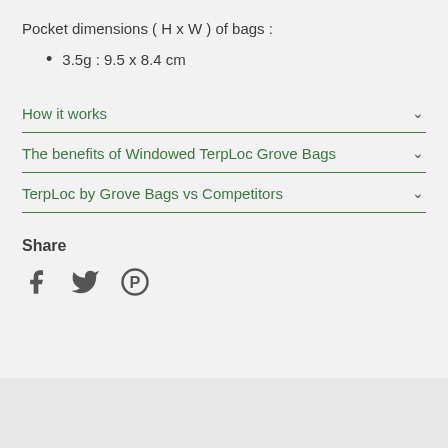Pocket dimensions ( H x W ) of bags :
3.5g : 9.5 x 8.4 cm
How it works
The benefits of Windowed TerpLoc Grove Bags
TerpLoc by Grove Bags vs Competitors
Share
[Figure (illustration): Social sharing icons: Facebook (f), Twitter (bird), Pinterest (P)]